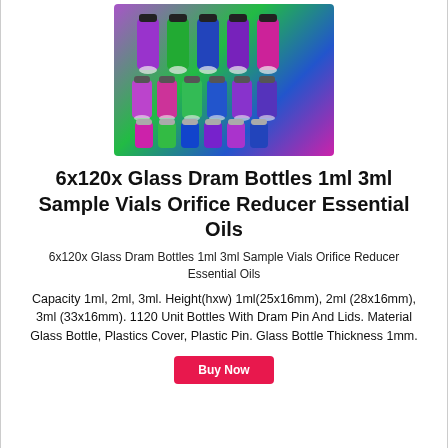[Figure (photo): Colorful glass dram bottles in purple, green, blue, and pink arranged in rows]
6x120x Glass Dram Bottles 1ml 3ml Sample Vials Orifice Reducer Essential Oils
6x120x Glass Dram Bottles 1ml 3ml Sample Vials Orifice Reducer Essential Oils
Capacity 1ml, 2ml, 3ml. Height(hxw) 1ml(25x16mm), 2ml (28x16mm), 3ml (33x16mm). 1120 Unit Bottles With Dram Pin And Lids. Material Glass Bottle, Plastics Cover, Plastic Pin. Glass Bottle Thickness 1mm.